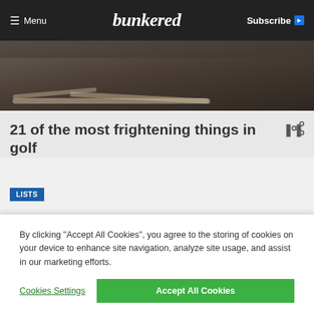Menu | bunkered | Subscribe
[Figure (photo): Dark moody photo showing skeleton hands/bones on a wooden surface, hero image for golf article]
21 of the most frightening things in golf
LISTS
[Figure (photo): Strip of three photos showing people, part of the golf article content]
By clicking "Accept All Cookies", you agree to the storing of cookies on your device to enhance site navigation, analyze site usage, and assist in our marketing efforts.
Cookies Settings | Accept All Cookies